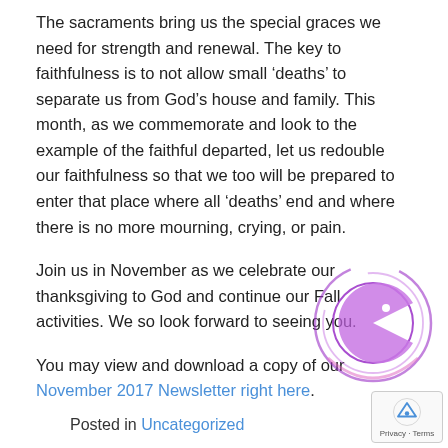The sacraments bring us the special graces we need for strength and renewal. The key to faithfulness is to not allow small ‘deaths’ to separate us from God’s house and family. This month, as we commemorate and look to the example of the faithful departed, let us redouble our faithfulness so that we too will be prepared to enter that place where all ‘deaths’ end and where there is no more mourning, crying, or pain.
Join us in November as we celebrate our thanksgiving to God and continue our Fall activities. We so look forward to seeing you.
You may view and download a copy of our November 2017 Newsletter right here.
Posted in Uncategorized